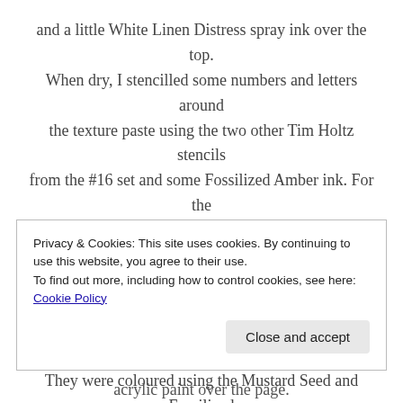and a little White Linen Distress spray ink over the top. When dry, I stencilled some numbers and letters around the texture paste using the two other Tim Holtz stencils from the #16 set and some Fossilized Amber ink. For the flowers, I used a stamping platform to stamp the flower heads and stems onto some mixed media paper using a Flower Garden stamp set and the Fossilized Amber ink. They were coloured using the Mustard Seed and Fossilized Amber inks which I applied like watercolour paint, then I cut them out and stuck them in place using matte gel medium. For the wording, I die cut the letters from some
Privacy & Cookies: This site uses cookies. By continuing to use this website, you agree to their use. To find out more, including how to control cookies, see here: Cookie Policy
Close and accept
acrylic paint over the page.